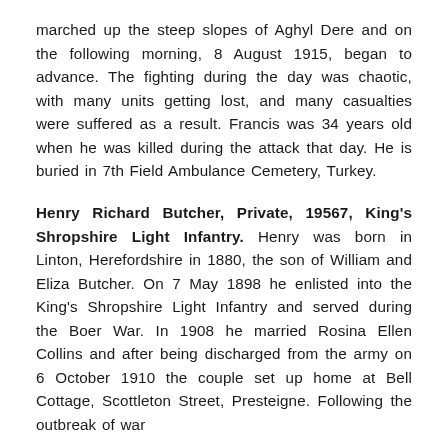marched up the steep slopes of Aghyl Dere and on the following morning, 8 August 1915, began to advance. The fighting during the day was chaotic, with many units getting lost, and many casualties were suffered as a result. Francis was 34 years old when he was killed during the attack that day. He is buried in 7th Field Ambulance Cemetery, Turkey.
Henry Richard Butcher, Private, 19567, King's Shropshire Light Infantry. Henry was born in Linton, Herefordshire in 1880, the son of William and Eliza Butcher. On 7 May 1898 he enlisted into the King's Shropshire Light Infantry and served during the Boer War. In 1908 he married Rosina Ellen Collins and after being discharged from the army on 6 October 1910 the couple set up home at Bell Cottage, Scottleton Street, Presteigne. Following the outbreak of war...